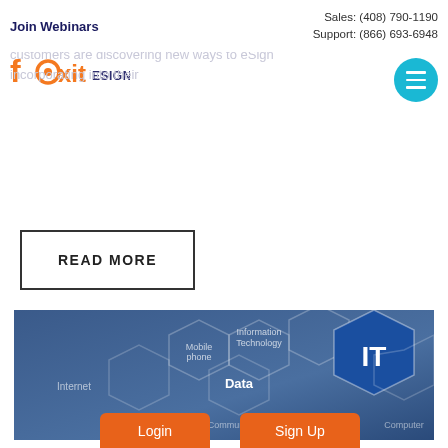Join Webinars | Sales: (408) 790-1190 | Support: (866) 693-6948
[Figure (logo): Foxit eSign logo — orange Foxit wordmark with a gear/eye 'o', followed by dark blue 'ESIGN' text]
electronic signatures, you're in luck. Unlike require all apps and software you already use for your business. Every customers are discovering new ways to eSign incorporating into their
READ MORE
[Figure (photo): Person in a suit pointing at a hexagonal IT technology diagram with nodes labeled: Information Technology, Mobile phone, Data, Internet, Communication, Computer. The 'IT' hexagon is highlighted in blue.]
Login
Sign Up